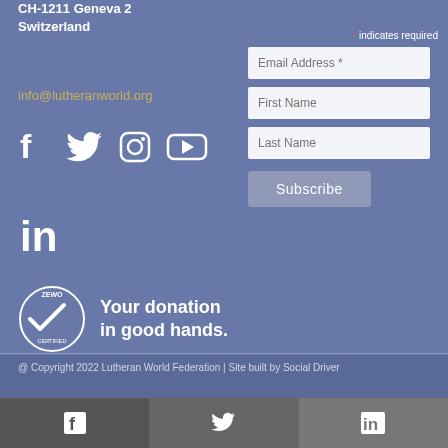CH-1211 Geneva 2
Switzerland
info@lutheranworld.org
[Figure (illustration): Social media icons: Facebook, Twitter, Instagram, YouTube, LinkedIn]
[Figure (logo): ZEWO certification logo with text: Your donation in good hands.]
* indicates required
Email Address *
First Name
Last Name
Subscribe
@ Copyright 2022 Lutheran World Federation | Site built by Social Driver
Open Positions
Press Room
[Figure (illustration): Social media bar at bottom: Facebook, Twitter, LinkedIn icons on dark grey background]